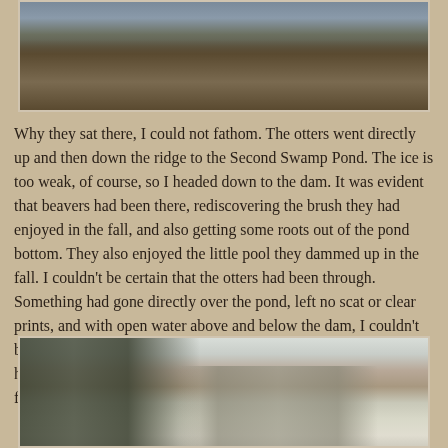[Figure (photo): Photograph of driftwood logs piled near a water's edge, with gray water visible in the background.]
Why they sat there, I could not fathom. The otters went directly up and then down the ridge to the Second Swamp Pond. The ice is too weak, of course, so I headed down to the dam. It was evident that beavers had been there, rediscovering the brush they had enjoyed in the fall, and also getting some roots out of the pond bottom. They also enjoyed the little pool they dammed up in the fall. I couldn't be certain that the otters had been through. Something had gone directly over the pond, left no scat or clear prints, and with open water above and below the dam, I couldn't be certain it was an otter. On the north end of the dam, I noticed how beavers had come up and gnawed again on the left overs from the fall
[Figure (photo): Winter landscape photograph showing snow-covered ground with dark evergreen trees on the left and tall dry reeds/grasses in the background against a pale sky.]